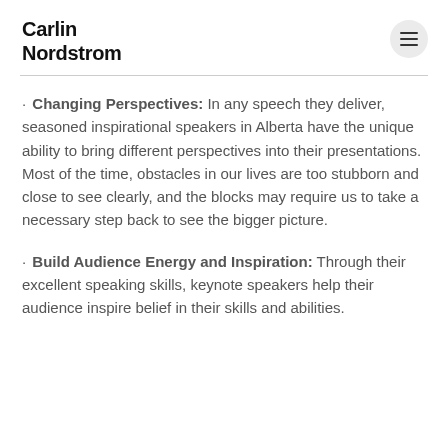Carlin Nordstrom
· Changing Perspectives: In any speech they deliver, seasoned inspirational speakers in Alberta have the unique ability to bring different perspectives into their presentations. Most of the time, obstacles in our lives are too stubborn and close to see clearly, and the blocks may require us to take a necessary step back to see the bigger picture.
· Build Audience Energy and Inspiration: Through their excellent speaking skills, keynote speakers help their audience inspire belief in their skills and abilities.